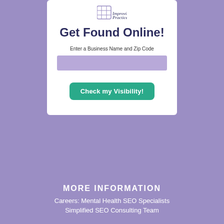[Figure (logo): Logo with brain/grid icon and italic tagline 'Improving Private Practice Rankings']
Get Found Online!
Enter a Business Name and Zip Code
[Figure (screenshot): Purple/lavender input field box]
Check my Visibility!
MORE INFORMATION
Careers: Mental Health SEO Specialists
Simplified SEO Consulting Team